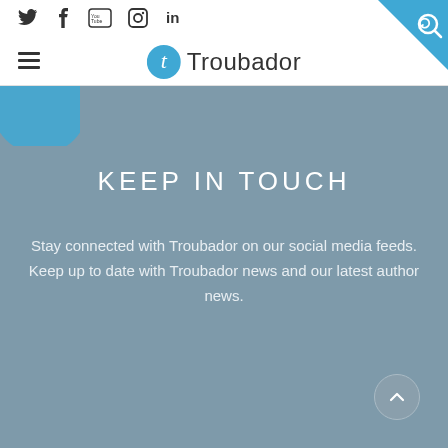Social icons: Twitter, Facebook, YouTube, Instagram, LinkedIn | Hamburger menu | Troubador logo
KEEP IN TOUCH
Stay connected with Troubador on our social media feeds. Keep up to date with Troubador news and our latest author news.